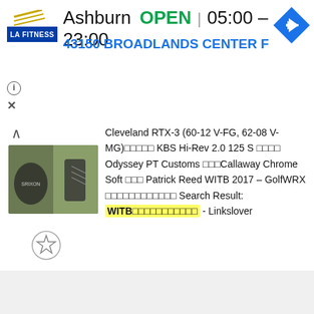[Figure (screenshot): LA Fitness logo — stylized text 'LA FITNESS' with angled lines]
Ashburn   OPEN  |  05:00 – 23:00
43150 BROADLANDS CENTER F
[Figure (infographic): Blue diamond navigation/directions icon with white right-arrow]
ⓘ
✕
[Figure (photo): Golf club product images — Srixon putter headcover and wedge close-up on green background]
Cleveland RTX-3 (60-12 V-FG, 62-08 V-MG)□□□□□ KBS Hi-Rev 2.0 125 S □□□□ Odyssey PT Customs □□□Callaway Chrome Soft □□□ Patrick Reed WITB 2017 – GolfWRX □□□□□□□□□□□□ Search Result: WITB□□□□□□□□□□□ - Linkslover
[Figure (infographic): Star bookmark/save icon — circular outline with star shape]